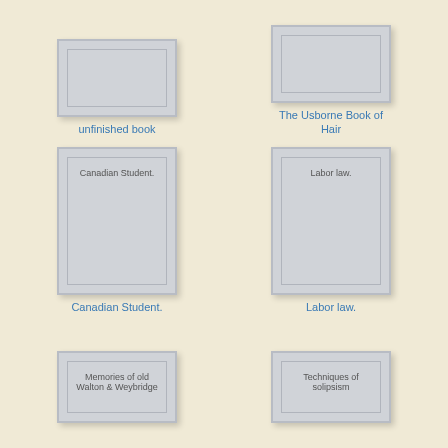[Figure (illustration): Book cover placeholder - partially visible at top, gray cover with inner border]
unfinished book
[Figure (illustration): Book cover placeholder - partially visible at top, gray cover with inner border]
The Usborne Book of Hair
[Figure (illustration): Full book cover placeholder, gray with inner border, text: Canadian Student.]
Canadian Student.
[Figure (illustration): Full book cover placeholder, gray with inner border, text: Labor law.]
Labor law.
[Figure (illustration): Partial book cover at bottom, gray with inner border, text: Memories of old Walton & Weybridge]
[Figure (illustration): Partial book cover at bottom, gray with inner border, text: Techniques of solipsism]